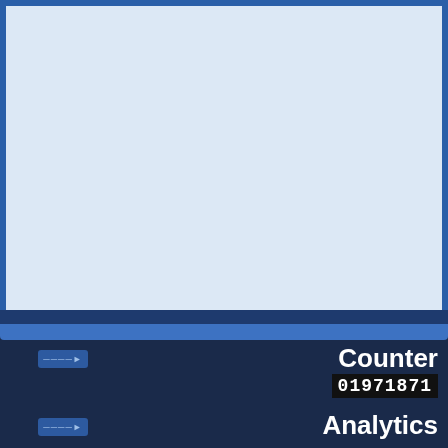[Figure (screenshot): Screenshot of a web analytics interface showing a light blue content area at the top, a dark navy bottom panel with navigation buttons on the left, and labels 'Counter' and 'Analytics' on the right side, with a counter value '01971871' displayed in a monospace digital readout style.]
Counter
01971871
Analytics